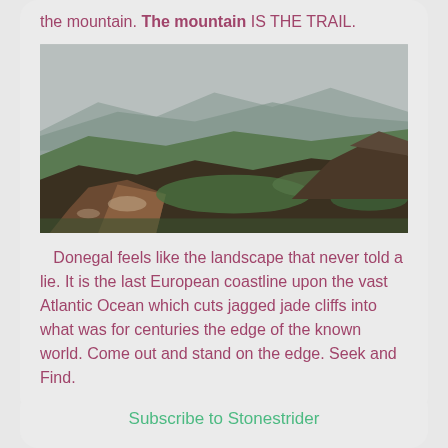the mountain. The mountain IS THE TRAIL.
[Figure (photo): Landscape photo of rocky highland terrain in Donegal, Ireland, showing mossy rocks, heather-covered ground, and misty mountain hills in the background under an overcast sky.]
Donegal feels like the landscape that never told a lie. It is the last European coastline upon the vast Atlantic Ocean which cuts jagged jade cliffs into what was for centuries the edge of the known world. Come out and stand on the edge. Seek and Find.
Subscribe to Stonestrider